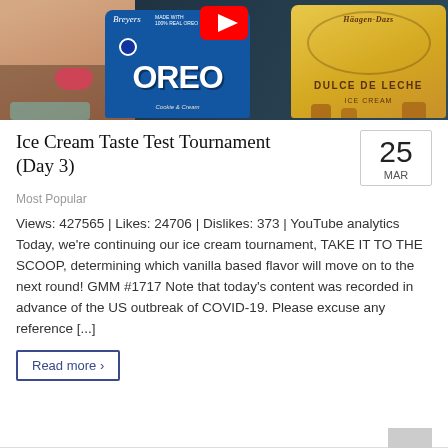[Figure (photo): YouTube thumbnail showing a bearded man sticking out his tongue beside Breyers Oreo Cookie & Cream ice cream container and Häagen-Dazs Dulce de Leche ice cream container, with a YouTube play button overlay.]
Ice Cream Taste Test Tournament (Day 3)
Most Popular
Views: 427565 | Likes: 24706 | Dislikes: 373 | YouTube analytics Today, we're continuing our ice cream tournament, TAKE IT TO THE SCOOP, determining which vanilla based flavor will move on to the next round! GMM #1717 Note that today's content was recorded in advance of the US outbreak of COVID-19. Please excuse any reference [...]
Read more >